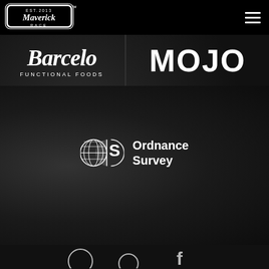[Figure (logo): Maverick Race logo - white badge style logo with cursive text on black navigation bar]
[Figure (logo): Hamburger menu icon (three horizontal lines) in top right of black navigation bar]
[Figure (logo): Barcelo Functional Foods logo - stylized script text with 'FUNCTIONAL FOODS' subtitle in white]
[Figure (logo): MOJO logo in bold white block letters]
[Figure (logo): Ordnance Survey logo - circular OS emblem with globe/map design alongside 'Ordnance Survey' text in white]
[Figure (logo): Partial social media icons visible at bottom of page]